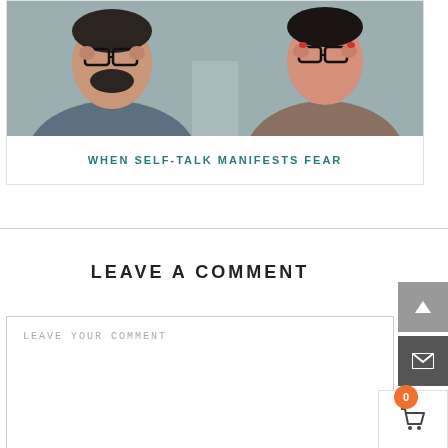[Figure (photo): Two people (a man with glasses and beard on the left, a woman with glasses on the right) pressing their fingers to their temples, suggesting thinking or stress. Image is in a muted/desaturated style.]
WHEN SELF-TALK MANIFESTS FEAR
LEAVE A COMMENT
LEAVE YOUR COMMENT